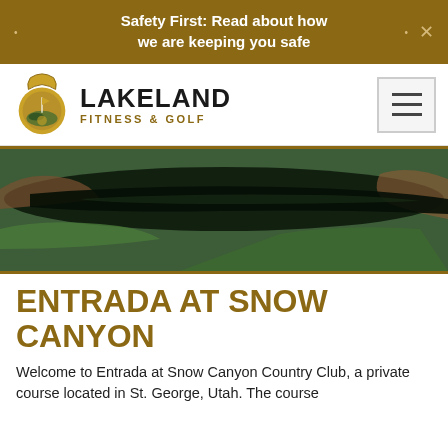Safety First: Read about how we are keeping you safe
[Figure (logo): Lakeland Fitness & Golf logo with kettlebell/golf icon]
[Figure (photo): Aerial view of a golf course with dark water feature, green fairways and red rock terrain at Entrada at Snow Canyon]
ENTRADA AT SNOW CANYON
Welcome to Entrada at Snow Canyon Country Club, a private course located in St. George, Utah. The course